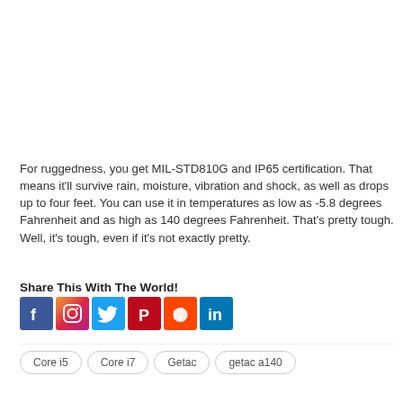For ruggedness, you get MIL-STD810G and IP65 certification. That means it'll survive rain, moisture, vibration and shock, as well as drops up to four feet. You can use it in temperatures as low as -5.8 degrees Fahrenheit and as high as 140 degrees Fahrenheit. That's pretty tough. Well, it's tough, even if it's not exactly pretty.
Share This With The World!
[Figure (other): Row of social media share buttons: Facebook, Instagram, Twitter, Pinterest, Reddit, LinkedIn]
Core i5
Core i7
Getac
getac a140